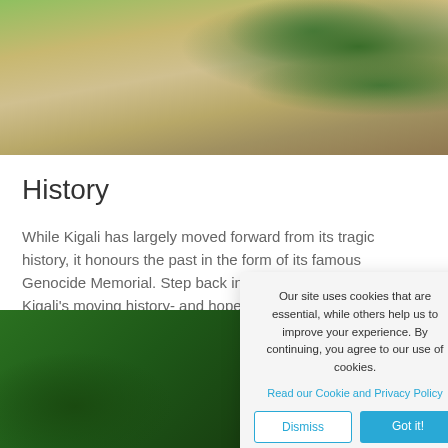[Figure (photo): Top portion of a garden or outdoor memorial area with gravel, soil and leafy plants visible]
History
While Kigali has largely moved forward from its tragic history, it honours the past in the form of its famous Genocide Memorial. Step back in time and learn about Kigali's moving history- and hope for the future.
[Figure (photo): Bottom photo showing people wearing green and yellow clothing, partially obscured by cookie consent dialog]
Our site uses cookies that are essential, while others help us to improve your experience. By continuing, you agree to our use of cookies.
Read our Cookie and Privacy Policy
Dismiss
Got it!